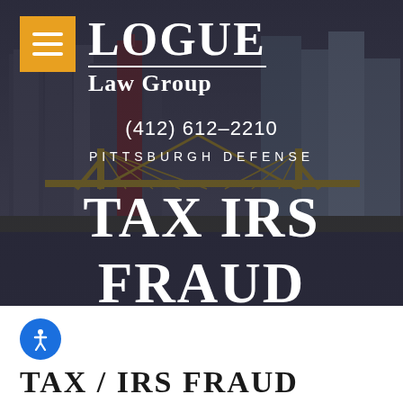[Figure (screenshot): Logue Law Group website hero section with Pittsburgh cityscape background, hamburger menu icon in orange box, firm name, phone number, practice area descriptor, and TAX IRS FRAUD heading]
LOGUE
Law Group
(412) 612-2210
PITTSBURGH DEFENSE
TAX IRS FRAUD
TAX / IRS FRAUD